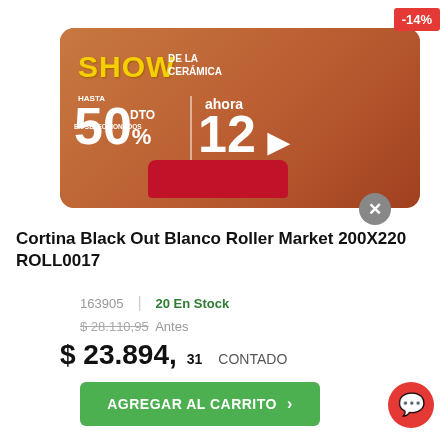[Figure (screenshot): Promotional banner for 'Show de la Cerámica' with orange/brown gradient background. Text: SHOW DE LA CERÁMICA, hasta 50% DTO en seleccionados, ahora 12, arrow icon, product images on red platform]
Cortina Black Out Blanco Roller Market 200X220 ROLL0017
163905  |  20 En Stock
$ 28.110,95  Antes
$ 23.894,31  CONTADO
AGREGAR AL CARRITO  >
-14%